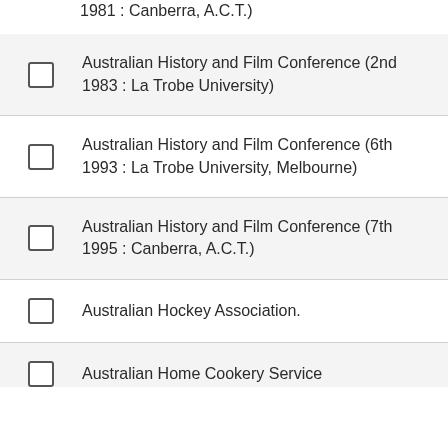1981 : Canberra, A.C.T.)
Australian History and Film Conference (2nd : 1983 : La Trobe University)
Australian History and Film Conference (6th : 1993 : La Trobe University, Melbourne)
Australian History and Film Conference (7th : 1995 : Canberra, A.C.T.)
Australian Hockey Association.
Australian Home Cookery Service